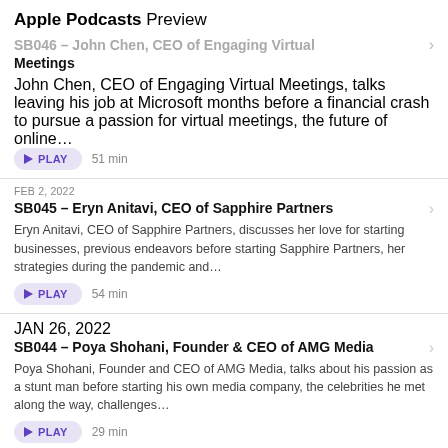Apple Podcasts Preview
SB046 - John Chen, CEO of Engaging Virtual Meetings
John Chen, CEO of Engaging Virtual Meetings, talks leaving his job at Microsoft months before a financial crash to pursue a passion for virtual meetings, the future of online...
PLAY 51 min
FEB 2, 2022
SB045 - Eryn Anitavi, CEO of Sapphire Partners
Eryn Anitavi, CEO of Sapphire Partners, discusses her love for starting businesses, previous endeavors before starting Sapphire Partners, her strategies during the pandemic and...
PLAY 54 min
JAN 26, 2022
SB044 - Poya Shohani, Founder & CEO of AMG Media
Poya Shohani, Founder and CEO of AMG Media, talks about his passion as a stunt man before starting his own media company, the celebrities he met along the way, challenges...
PLAY 29 min